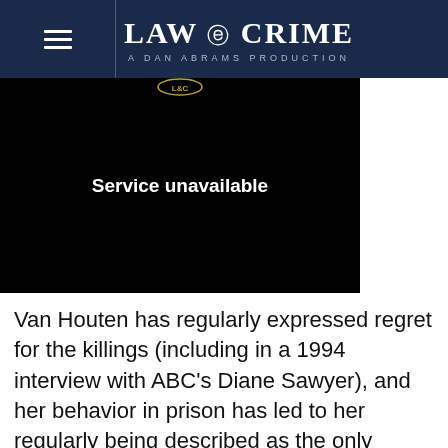LAW & CRIME — A DAN ABRAMS PRODUCTION
[Figure (screenshot): Video player showing 'Service unavailable' error message on black background with Law & Crime logo icon at top center]
Van Houten has regularly expressed regret for the killings (including in a 1994 interview with ABC's Diane Sawyer), and her behavior in prison has led to her regularly being described as the only Manson “family” member who could ever be released. In fact, the parole board highlighted that